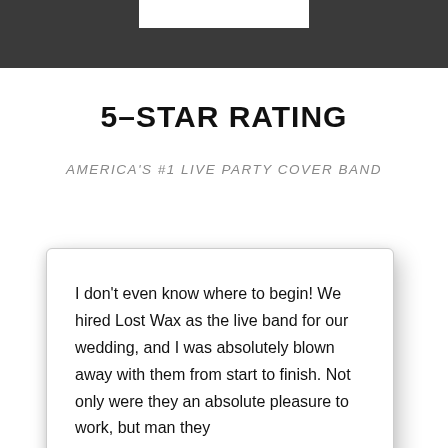5-STAR RATING
AMERICA'S #1 LIVE PARTY COVER BAND
I don't even know where to begin! We hired Lost Wax as the live band for our wedding, and I was absolutely blown away with them from start to finish. Not only were they an absolute pleasure to work, but man they